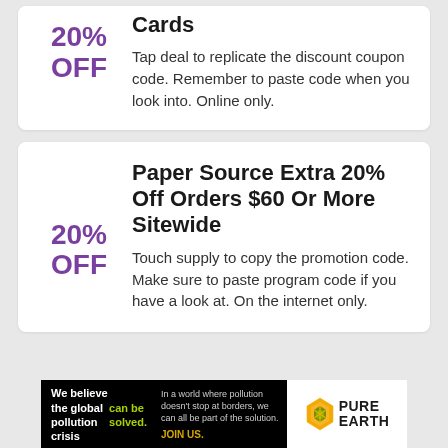Cards
Tap deal to replicate the discount coupon code. Remember to paste code when you look into. Online only.
Paper Source Extra 20% Off Orders $60 Or More Sitewide
Touch supply to copy the promotion code. Make sure to paste program code if you have a look at. On the internet only.
[Figure (infographic): Pure Earth advertisement banner: black background with text 'We believe the global pollution crisis can be solved.' and right side white background with Pure Earth logo and diamond/leaf icon.]